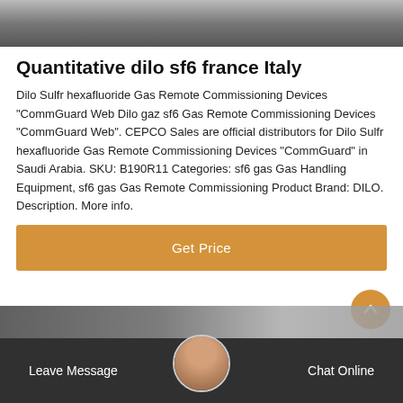[Figure (photo): Top portion of page showing a partial photo of industrial equipment with dark tones, cropped at top.]
Quantitative dilo sf6 france Italy
Dilo Sulfr hexafluoride Gas Remote Commissioning Devices "CommGuard Web Dilo gaz sf6 Gas Remote Commissioning Devices "CommGuard Web". CEPCO Sales are official distributors for Dilo Sulfr hexafluoride Gas Remote Commissioning Devices "CommGuard" in Saudi Arabia. SKU: B190R11 Categories: sf6 gas Gas Handling Equipment, sf6 gas Gas Remote Commissioning Product Brand: DILO. Description. More info.
[Figure (other): Orange/amber 'Get Price' button]
[Figure (photo): Footer bar with dark background showing 'Leave Message' on left, a customer service representative avatar in center, and 'Chat Online' on right. A scroll-to-top circular orange button is visible above the footer.]